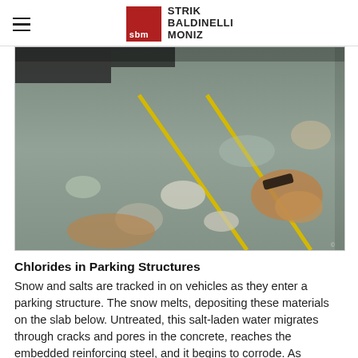STRIK BALDINELLI MONIZ
[Figure (photo): Deteriorated parking structure concrete slab surface with visible rust staining, spalling, patched areas, and yellow painted parking lines showing extensive chloride damage.]
Chlorides in Parking Structures
Snow and salts are tracked in on vehicles as they enter a parking structure. The snow melts, depositing these materials on the slab below. Untreated, this salt-laden water migrates through cracks and pores in the concrete, reaches the embedded reinforcing steel, and it begins to corrode. As corrosion progresses, larger